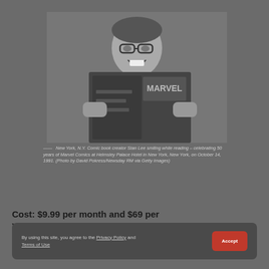[Figure (photo): Black and white photo of Stan Lee smiling while reading a Marvel comic book]
—— New York, N.Y. Comic book creator Stan Lee smiling while reading – celebrating 50 years of Marvel Comics at Helmsley Palace Hotel in New York, New York, on October 14, 1991. (Photo by David Pokress/Newsday RM via Getty Images)
Cost: $9.99 per month and $69 per year
By using this site, you agree to the Privacy Policy and Terms of Use